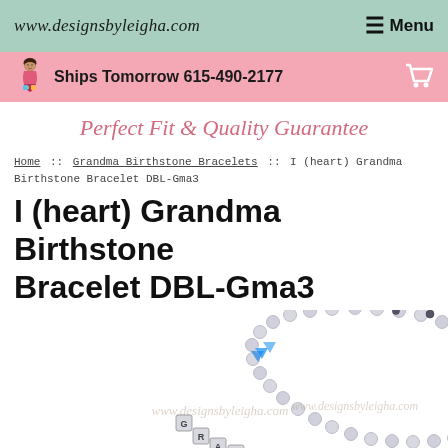www.designsbyleigha.com  ☰ Menu
Ships Tomorrow 615-490-2177
Perfect Fit & Quality Guarantee
Home :: Grandma Birthstone Bracelets :: I (heart) Grandma Birthstone Bracelet DBL-Gma3
I (heart) Grandma Birthstone Bracelet DBL-Gma3
[Figure (photo): Photo of a silver birthstone bracelet with letter beads spelling GRANDMA and blue crystal accent beads, shown on a white background with a watermark www.designsbyleigha.com]